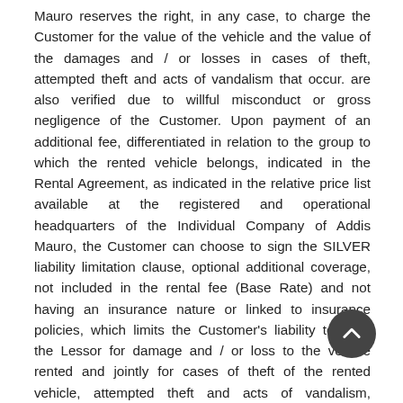Mauro reserves the right, in any case, to charge the Customer for the value of the vehicle and the value of the damages and / or losses in cases of theft, attempted theft and acts of vandalism that occur. are also verified due to willful misconduct or gross negligence of the Customer. Upon payment of an additional fee, differentiated in relation to the group to which the rented vehicle belongs, indicated in the Rental Agreement, as indicated in the relative price list available at the registered and operational headquarters of the Individual Company of Addis Mauro, the Customer can choose to sign the SILVER liability limitation clause, optional additional coverage, not included in the rental fee (Base Rate) and not having an insurance nature or linked to insurance policies, which limits the Customer's liability towards the Lessor for damage and / or loss to the vehicle rented and jointly for cases of theft of the rented vehicle, attempted theft and acts of vandalism, including damage and / or losses due to these facts, without prejudice to the provision of an excess of € 500.00. The signing of the SILVER liability limitation